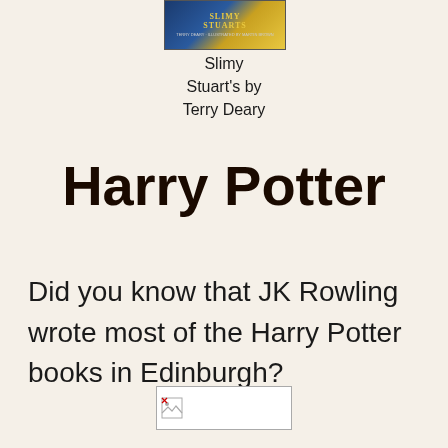[Figure (photo): Book cover of Slimy Stuarts by Terry Deary illustrated by Martin Brown, showing title text in gold/yellow on dark blue background]
Slimy Stuart's by Terry Deary
Harry Potter
Did you know that JK Rowling wrote most of the Harry Potter books in Edinburgh?
[Figure (photo): Broken/missing image placeholder at bottom of page]